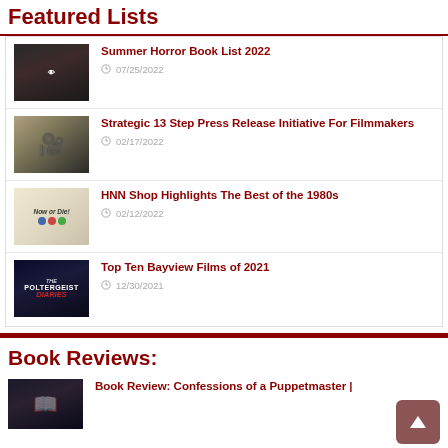Featured Lists
Summer Horror Book List 2022
07/25/2022
Strategic 13 Step Press Release Initiative For Filmmakers
02/17/2022
HNN Shop Highlights The Best of the 1980s
02/12/2022
Top Ten Bayview Films of 2021
12/30/2021
Book Reviews:
Book Review: Confessions of a Puppetmaster |